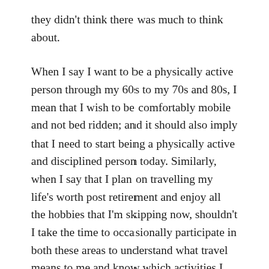they didn't think there was much to think about.

When I say I want to be a physically active person through my 60s to my 70s and 80s, I mean that I wish to be comfortably mobile and not bed ridden; and it should also imply that I need to start being a physically active and disciplined person today. Similarly, when I say that I plan on travelling my life's worth post retirement and enjoy all the hobbies that I'm skipping now, shouldn't I take the time to occasionally participate in both these areas to understand what travel means to me and know which activities I can call hobbies. With the age and the cognitive ability for being experiment being at odds, I'm not sure if I should be leaving so many untapped areas for the wrinkle days. I mean I don't wish for the